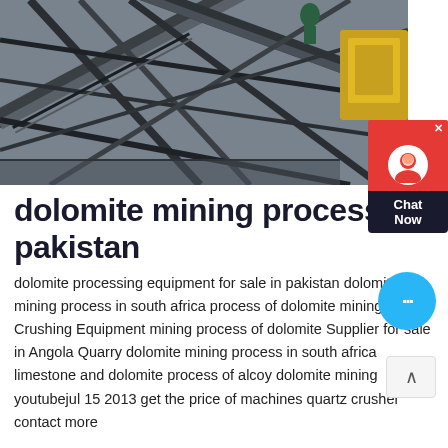[Figure (photo): Aerial/overhead view of industrial mining conveyor belt machinery and structural steel framework at a mining or quarry facility.]
dolomite mining process in pakistan
dolomite processing equipment for sale in pakistan dolomite mining process in south africa process of dolomite mining Crushing Equipment mining process of dolomite Supplier for sale in Angola Quarry dolomite mining process in south africa limestone and dolomite process of alcoy dolomite mining youtubejul 15 2013 get the price of machines quartz crusher contact more